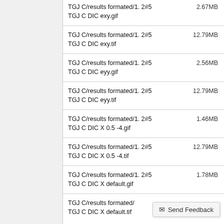TGJ C/results formated/1. 2#5 TGJ C DIC exy.gif   2.67MB
TGJ C/results formated/1. 2#5 TGJ C DIC exy.tif   12.79MB
TGJ C/results formated/1. 2#5 TGJ C DIC eyy.gif   2.56MB
TGJ C/results formated/1. 2#5 TGJ C DIC eyy.tif   12.79MB
TGJ C/results formated/1. 2#5 TGJ C DIC X 0.5 -4.gif   1.46MB
TGJ C/results formated/1. 2#5 TGJ C DIC X 0.5 -4.tif   12.79MB
TGJ C/results formated/1. 2#5 TGJ C DIC X default.gif   1.78MB
TGJ C/results formated/... TGJ C DIC X default.tif